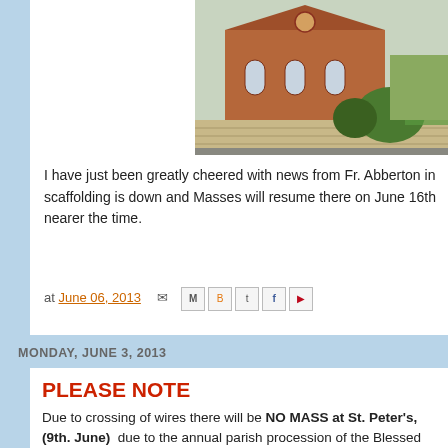[Figure (photo): Photograph of a red brick church building with stone wall in front and greenery]
I have just been greatly cheered with news from Fr. Abberton in scaffolding is down and Masses will resume there on June 16th nearer the time.
at June 06, 2013 [share icons]
MONDAY, JUNE 3, 2013
PLEASE NOTE
Due to crossing of wires there will be NO MASS at St. Peter's, (9th. June) due to the annual parish procession of the Blessed pray for good weather for them. Normal schedule for us to be re